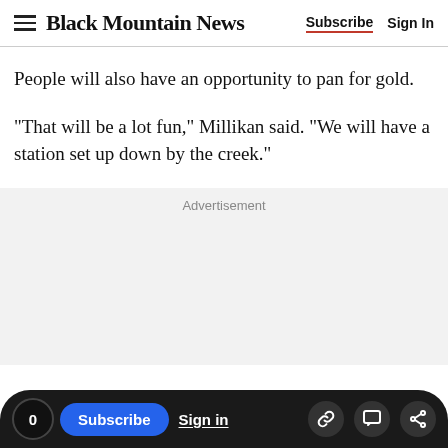Black Mountain News | Subscribe | Sign In
People will also have an opportunity to pan for gold.
"That will be a lot fun," Millikan said. "We will have a station set up down by the creek."
Advertisement
0 | Subscribe | Sign in